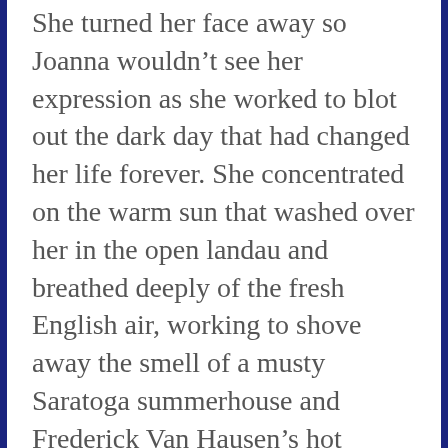She turned her face away so Joanna wouldn't see her expression as she worked to blot out the dark day that had changed her life forever. She concentrated on the warm sun that washed over her in the open landau and breathed deeply of the fresh English air, working to shove away the smell of a musty Saratoga summerhouse and Frederick Van Hausen's hot panting breath on her face. She listened to the clatter of carriage wheels so she wouldn't hear the sound of her own sobs or the